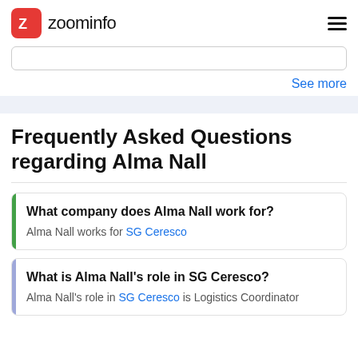zoominfo
See more
Frequently Asked Questions regarding Alma Nall
What company does Alma Nall work for?
Alma Nall works for SG Ceresco
What is Alma Nall's role in SG Ceresco?
Alma Nall's role in SG Ceresco is Logistics Coordinator